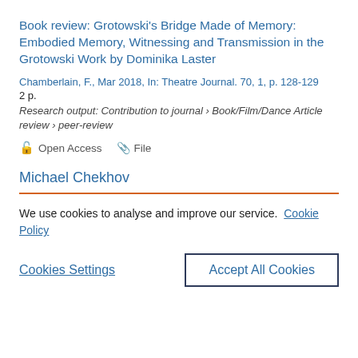Book review: Grotowski's Bridge Made of Memory: Embodied Memory, Witnessing and Transmission in the Grotowski Work by Dominika Laster
Chamberlain, F., Mar 2018, In: Theatre Journal. 70, 1, p. 128-129
2 p.
Research output: Contribution to journal › Book/Film/Dance Article review › peer-review
Open Access   File
Michael Chekhov
We use cookies to analyse and improve our service. Cookie Policy
Cookies Settings   Accept All Cookies